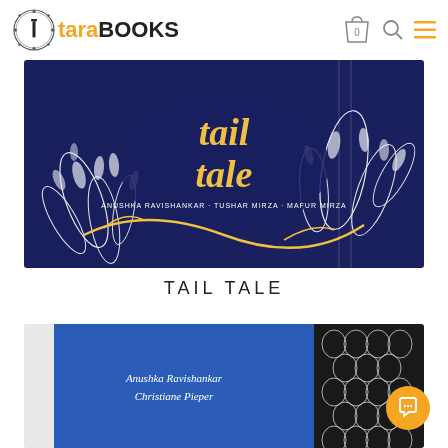tara BOOKS
[Figure (photo): Book cover of 'Tail Tale' – dark navy/blue background with intricate white leaf and botanical pattern, gold cursive title text 'tail tale', yellow illustrated vine details, small author text at bottom]
TAIL TALE
[Figure (photo): Partial book cover on blue background showing author names 'Anushka Ravishankar' and 'Christiane Pieper' with black and white illustrated fish/animal pattern on the right side]